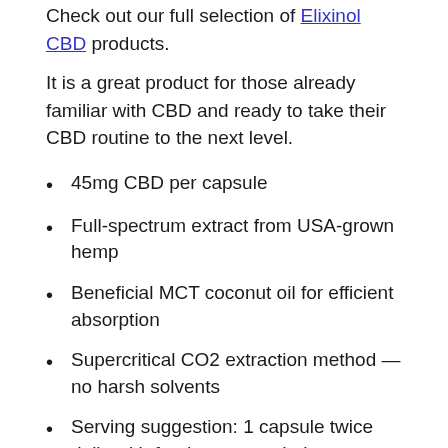Check out our full selection of Elixinol CBD products.
It is a great product for those already familiar with CBD and ready to take their CBD routine to the next level.
45mg CBD per capsule
Full-spectrum extract from USA-grown hemp
Beneficial MCT coconut oil for efficient absorption
Supercritical CO2 extraction method — no harsh solvents
Serving suggestion: 1 capsule twice daily with food or as needed
Quality Lab Tested for Purity. Check out Elixinol Certificates of Analysis.
Elixinol Everyday Daily Balance Extra Strength Capsules full-spectrum CBD works with your body to help balance out your immune response, stress response, cognitive health and more. Each capsule has the full